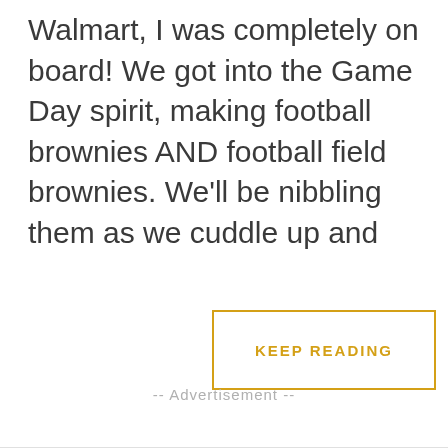Walmart, I was completely on board! We got into the Game Day spirit, making football brownies AND football field brownies. We’ll be nibbling them as we cuddle up and
[Figure (other): KEEP READING button with gold/yellow border and text]
-- Advertisement --